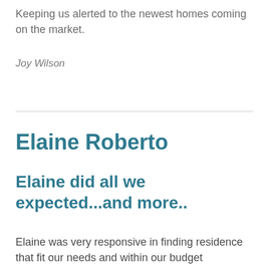Keeping us alerted to the newest homes coming on the market.
Joy Wilson
Elaine Roberto
Elaine did all we expected...and more..
Elaine was very responsive in finding residence that fit our needs and within our budget